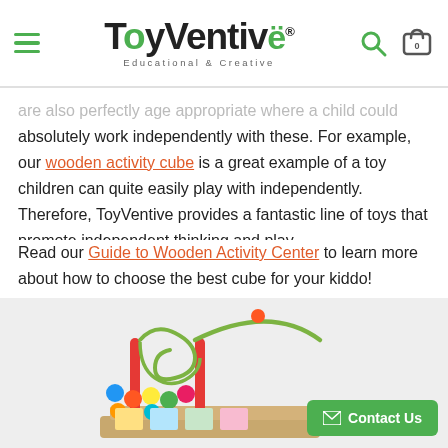ToyVentive Educational & Creative
are also perfectly age appropriate where a child could absolutely work independently with these. For example, our wooden activity cube is a great example of a toy children can quite easily play with independently. Therefore, ToyVentive provides a fantastic line of toys that promote independent thinking and play.
Read our Guide to Wooden Activity Center to learn more about how to choose the best cube for your kiddo!
[Figure (photo): A wooden activity cube toy with colorful beads on wire tracks, photographed on a light gray background.]